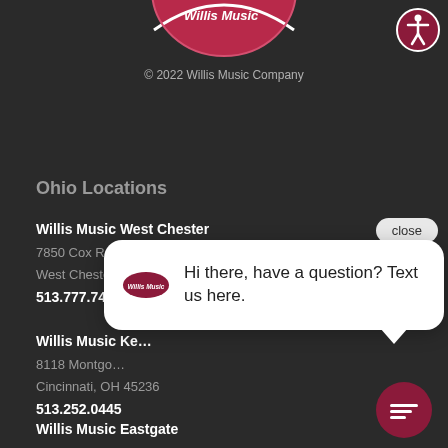[Figure (logo): Willis Music Company logo — partial pink/red circular logo at the top center]
[Figure (logo): Accessibility icon — white figure in circle on dark red background, top right]
© 2022 Willis Music Company
Ohio Locations
Willis Music West Chester
7850 Cox Rd.
West Chester, OH 45069
513.777.7474
Willis Music Ke...
8118 Montgo...
Cincinnati, OH 45236
513.252.0445
Willis Music Eastgate
[Figure (screenshot): Chat popup overlay showing Willis Music logo and text: Hi there, have a question? Text us here.]
close